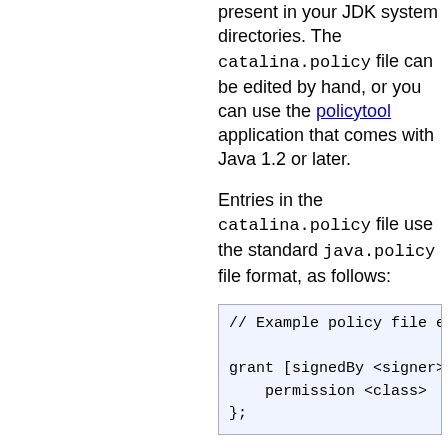present in your JDK system directories. The catalina.policy file can be edited by hand, or you can use the policytool application that comes with Java 1.2 or later.
Entries in the catalina.policy file use the standard java.policy file format, as follows:
// Example policy file e...

grant [signedBy <signer>,...
    permission <class>  [*...
};
The signedBy and codeBase entries are optional when granting permissions. Comment lines begin with "//" and end at the end of the current line. The codeBase is in the form of a URL, and for a